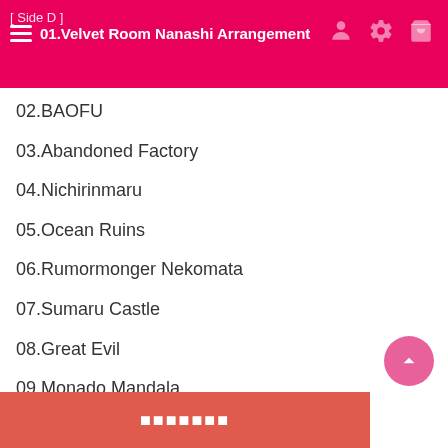[ Side D ] 01.Velvet Room Nanashi Arrangement
02.BAOFU
03.Abandoned Factory
04.Nichirinmaru
05.Ocean Ruins
06.Rumormonger Nekomata
07.Sumaru Castle
08.Great Evil
09.Monado Mandala
10.EX Final Battle
【Persona3】
[ Side A ]
01.Burn My Dread
02.■■■■■■■■
03.■■■■
04.　■■■■■■
05.W■
06.Tr■
■■■■■■■